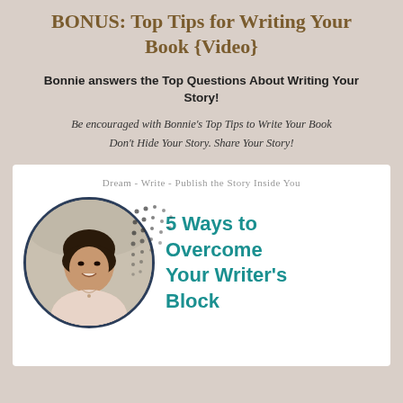BONUS: Top Tips for Writing Your Book {Video}
Bonnie answers the Top Questions About Writing Your Story!
Be encouraged with Bonnie's Top Tips to Write Your Book
Don't Hide Your Story. Share Your Story!
[Figure (photo): White card with a circular photo of a smiling Asian woman with dark hair, wearing a light pink top. Decorative dot pattern beside the photo. Text reads: Dream - Write - Publish the Story Inside You. Right side shows teal text: 5 Ways to Overcome Your Writer's Block]